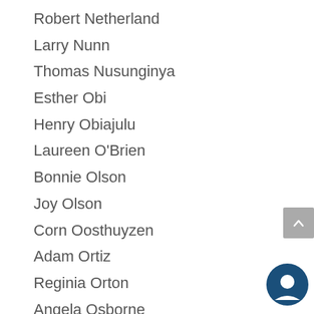Robert Netherland
Larry Nunn
Thomas Nusunginya
Esther Obi
Henry Obiajulu
Laureen O'Brien
Bonnie Olson
Joy Olson
Corn Oosthuyzen
Adam Ortiz
Reginia Orton
Angela Osborne
Dana M. Otero
Mildred Owens